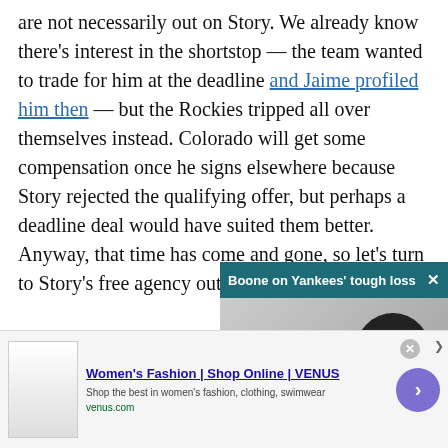are not necessarily out on Story. We already know there's interest in the shortstop — the team wanted to trade for him at the deadline and Jaime profiled him then — but the Rockies tripped all over themselves instead. Colorado will get some compensation once he signs elsewhere because Story rejected the qualifying offer, but perhaps a deadline deal would have suited them better. Anyway, that time has come and gone, so let's turn to Story's free agency outlook.
[Figure (screenshot): Video player bar overlay: 'Boone on Yankees' tough loss' with close button, and partial video thumbnail showing a person in a dark hat]
Background
[Figure (screenshot): Advertisement: Women's Fashion | Shop Online | VENUS. Shop the best in women's fashion, clothing, swimwear. venus.com. With infolinks badge and navigation arrow.]